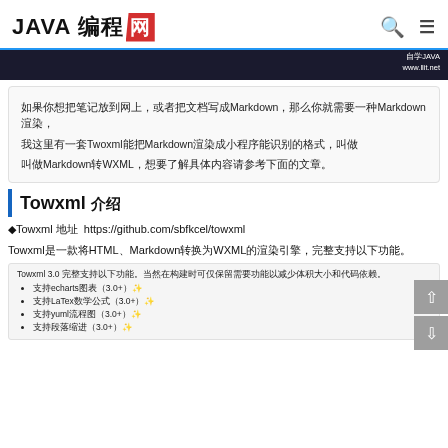JAVA 编程网
[Figure (screenshot): Dark banner strip with URL 自学JAVA www.llit.net on the right]
如果你想把笔记放到网上，或者把文档写成Markdown，那么你就需要一种Markdown渲染，我这里有一套Twoxml能把Markdown渲染成小程序能识别的格式，叫做Markdown转WXML。
Towxml 介绍
◆Towxml 地址 https://github.com/sbfkcel/towxml
Towxml是一款将HTML、Markdown转换为WXML的渲染引擎，完整支持以下功能。
Towxml 3.0 完整支持以下功能。当然在构建时可仅保留需要功能以减少体积大小和代码依赖。
• 支持echarts图表（3.0+）✨
• 支持LaTex数学公式（3.0+）✨
• 支持yuml流程图（3.0+）✨
• 支持段落缩进（3.0+）✨